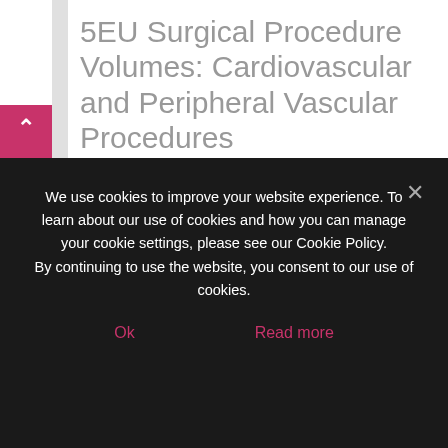5EU Surgical Procedure Volumes: Cardiovascular and Peripheral Vascular Procedures
$3,000.00
[Figure (other): Add to cart button with shopping cart icon]
This report presents procedure volumes forecasts for some of the most common cardiovascular and
We use cookies to improve your website experience. To learn about our use of cookies and how you can manage your cookie settings, please see our Cookie Policy.
By continuing to use the website, you consent to our use of cookies.
Ok
Read more